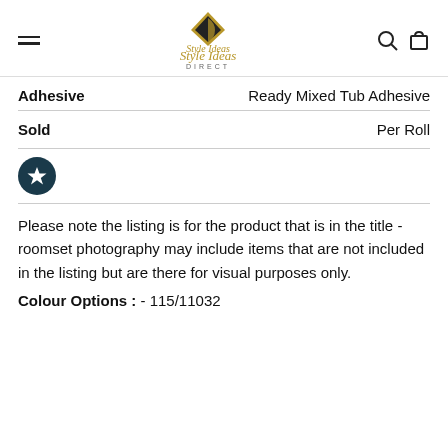Style Ideas Direct
Adhesive
Ready Mixed Tub Adhesive
Sold
Per Roll
Please note the listing is for the product that is in the title - roomset photography may include items that are not included in the listing but are there for visual purposes only.
Colour Options : - 115/11032